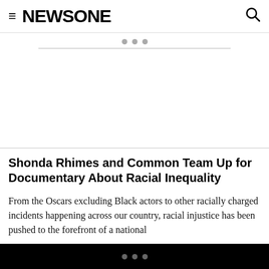≡ NEWSONE
[Figure (other): Advertisement placeholder with three dots and a horizontal divider line above a blank ad space]
Shonda Rhimes and Common Team Up for Documentary About Racial Inequality
From the Oscars excluding Black actors to other racially charged incidents happening across our country, racial injustice has been pushed to the forefront of a national